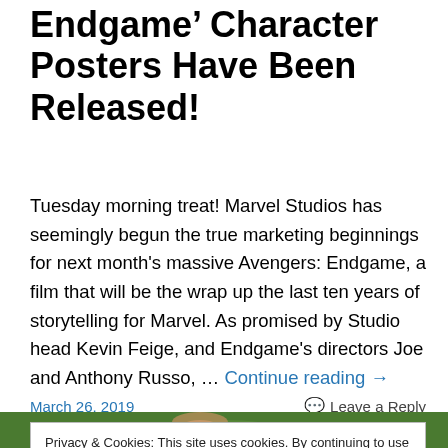Endgame’ Character Posters Have Been Released!
Tuesday morning treat! Marvel Studios has seemingly begun the true marketing beginnings for next month’s massive Avengers: Endgame, a film that will be the wrap up the last ten years of storytelling for Marvel. As promised by Studio head Kevin Feige, and Endgame’s directors Joe and Anthony Russo, … Continue reading →
March 26, 2019     Leave a Reply
Privacy & Cookies: This site uses cookies. By continuing to use this website, you agree to their use.
To find out more, including how to control cookies, see here: Cookie Policy
[Figure (photo): Bottom strip showing a person smiling outdoors with green foliage background]